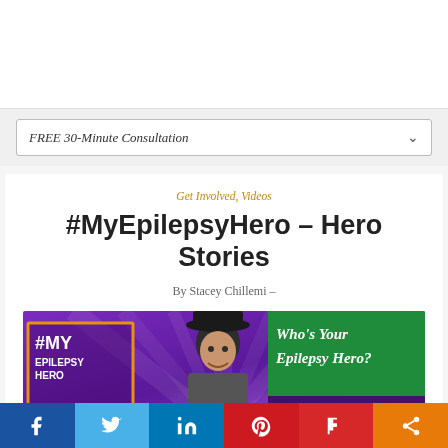[Figure (screenshot): Top white navigation bar area of a website]
FREE 30-Minute Consultation
Get Involved, Videos
#MyEpilepsyHero – Hero Stories
By Stacey Chillemi –
[Figure (photo): #MyEpilepsy Hero campaign banner with man in hat, purple background with rays, WHO'S YOUR EPILEPSY HERO? green box, and sponsor logos: Sunovion, Epilepsy Foundation, talk]
[Figure (infographic): Social share bar with Facebook, Twitter, LinkedIn, Pinterest, Flipboard, and share buttons]